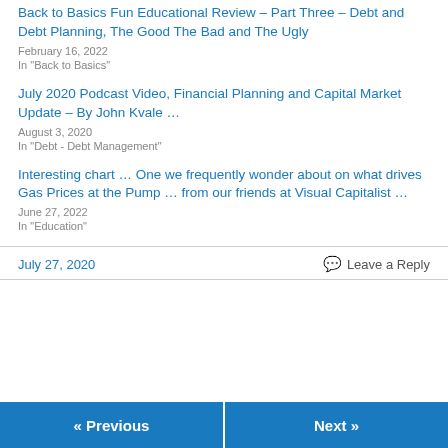Back to Basics Fun Educational Review – Part Three – Debt and Debt Planning, The Good The Bad and The Ugly
February 16, 2022
In "Back to Basics"
July 2020 Podcast Video, Financial Planning and Capital Market Update – By John Kvale …
August 3, 2020
In "Debt - Debt Management"
Interesting chart … One we frequently wonder about on what drives Gas Prices at the Pump … from our friends at Visual Capitalist …
June 27, 2022
In "Education"
July 27, 2020
Leave a Reply
« Previous
Next »